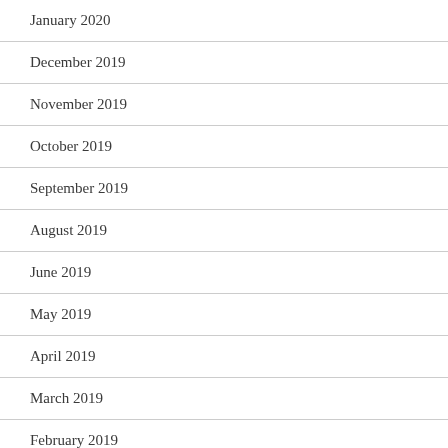January 2020
December 2019
November 2019
October 2019
September 2019
August 2019
June 2019
May 2019
April 2019
March 2019
February 2019